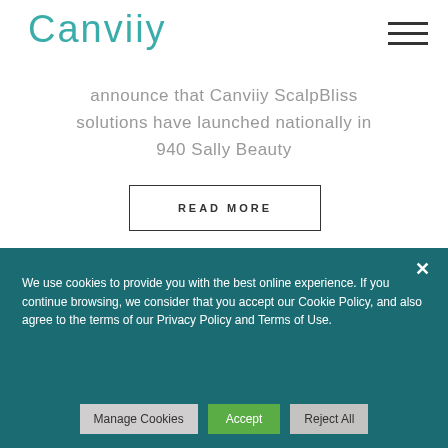Canviiy
announce that Canviiy ScalpBliss solutions have launched nationally in 940 Sally Beauty
READ MORE
We use cookies to provide you with the best online experience. If you continue browsing, we consider that you accept our Cookie Policy, and also agree to the terms of our Privacy Policy and Terms of Use.
Manage Cookies  Accept  Reject All